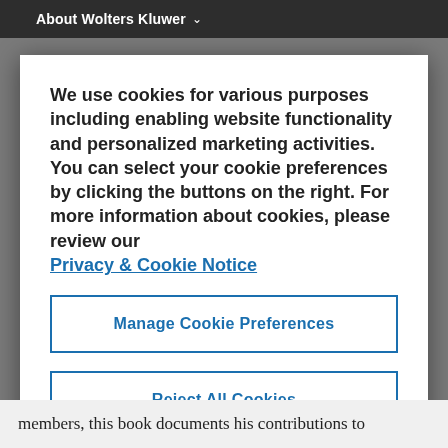About Wolters Kluwer
We use cookies for various purposes including enabling website functionality and personalized marketing activities. You can select your cookie preferences by clicking the buttons on the right. For more information about cookies, please review our Privacy & Cookie Notice
Manage Cookie Preferences
Reject All Cookies
Accept All Cookies
members, this book documents his contributions to